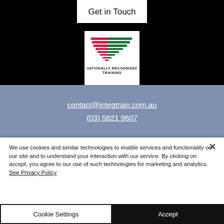Get in Touch
[Figure (logo): Nationally Recognised Training logo with pink and green chevron/arrow stripes and text 'NATIONALLY RECOGNISED TRAINING' below]
contact@integtrain.com.au
(03) 5821 9607
We use cookies and similar technologies to enable services and functionality on our site and to understand your interaction with our service. By clicking on accept, you agree to our use of such technologies for marketing and analytics. See Privacy Policy
Cookie Settings
Accept